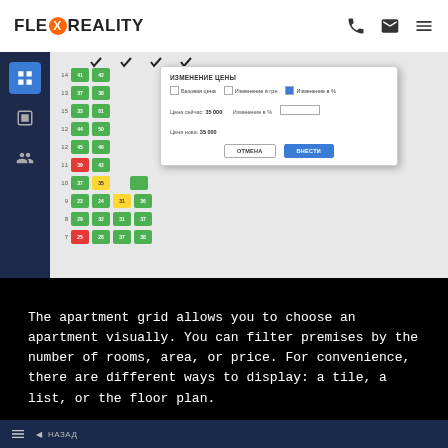FLEX REALITY
[Figure (screenshot): Apartment grid UI with a price change modal dialog showing checkboxes for 'Базовая цена', 'Изменение в грн', 'Изменение в %', fields for 'Цена сейчас: 35 000', 'Изменение в %', 'Цена нова: 35 000', and buttons 'ОТМЕНА' and 'ВНЕСТИ'. The grid shows colored apartment cells (green, yellow, red) by floor.]
The apartment grid allows you to choose an apartment visually. You can filter premises by the number of rooms, area, or price. For convenience, there are different ways to display: a tile, a list, or the floor plan.
[Figure (screenshot): Bottom navigation bar with hamburger menu icon and back navigation arrow with text 'НАЗАД']